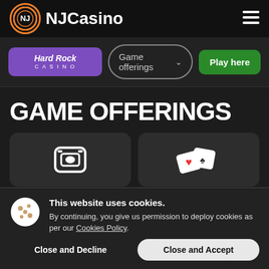[Figure (logo): NJCasino logo with orange-bordered circle containing NJ text, followed by NJCasino wordmark in white bold text]
[Figure (screenshot): Hamburger menu icon (three horizontal lines) in top right of header]
[Figure (logo): Hard Rock Casino purple button logo with italic Hard Rock text and CASINO subtext]
Game offerings
Play here
GAME OFFERINGS
[Figure (illustration): White icon of a slot machine on dark card]
[Figure (illustration): White icon of playing cards (heart suit) on dark card]
This website uses cookies. By continuing, you give us permission to deploy cookies as per our Cookies Policy.
Close and Decline
Close and Accept